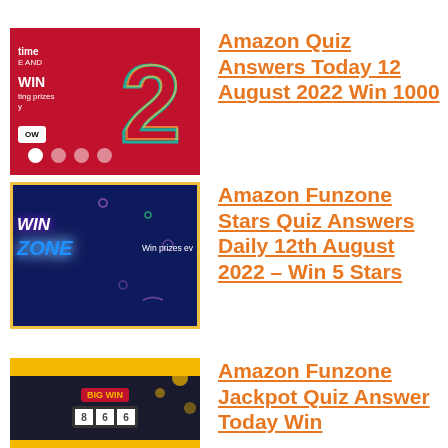[Figure (photo): Amazon Quiz promotional banner with red background, question mark in teal/gold, carousel dots, text: time, AND, WIN, ting prizes, y, OW]
Amazon Quiz Answers Today 12 August 2022 Win 1000
[Figure (photo): Amazon Funzone Stars Quiz banner with dark blue background, yellow border, neon text WIN ZONE, Win prizes ev... text]
Amazon Funzone Stars Quiz Answers Daily 12th August 2022 – Win 5 Stars
[Figure (photo): Amazon Funzone Jackpot Quiz banner with dark background, yellow stripes, slot machine showing 8, 6, 6, BIG WIN text]
Amazon Funzone Jackpot Quiz Answer Today Win